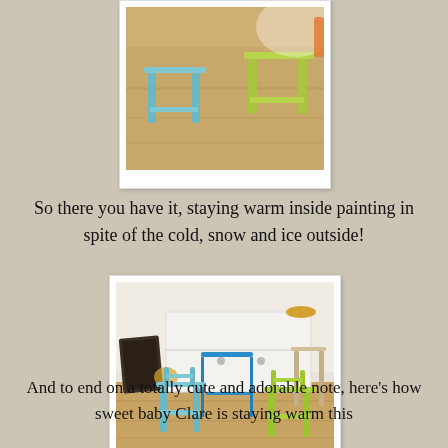[Figure (photo): Two small painted children's stools/chairs on a wood floor — one light blue, one yellow-green (lime)]
So there you have it, staying warm inside painting in spite of the cold, snow and ice outside!
[Figure (photo): Room scene with a white painted dresser, a blue painted child's side table, two small painted chairs (light blue and lime green), a wooden stool, and dark framed pictures on the floor]
And to end on a totally cute and adorable note, here's how sweet baby Clare is staying warm this